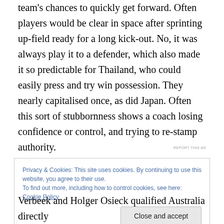team's chances to quickly get forward. Often players would be clear in space after sprinting up-field ready for a long kick-out. No, it was always play it to a defender, which also made it so predictable for Thailand, who could easily press and try win possession. They nearly capitalised once, as did Japan. Often this sort of stubbornness shows a coach losing confidence or control, and trying to re-stamp authority.
[Figure (other): Dark advertisement banner (image redacted/blacked out)]
REPORT THIS AD
Privacy & Cookies: This site uses cookies. By continuing to use this website, you agree to their use.
To find out more, including how to control cookies, see here: Cookie Policy
Close and accept
Verbeek and Holger Osieck qualified Australia directly...